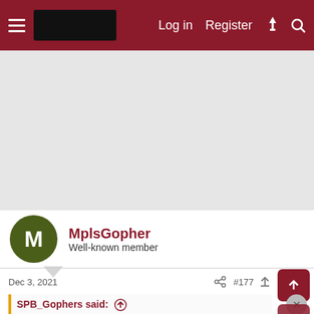Log in  Register
[Figure (other): Advertisement placeholder area (gray background)]
MplsGopher
Well-known member
Dec 3, 2021   #177
SPB_Gophers said:  ↑
Useless Fun Fact: Irondale's current Head Coach is former Gophers LB James Manuel. Was a solid player.